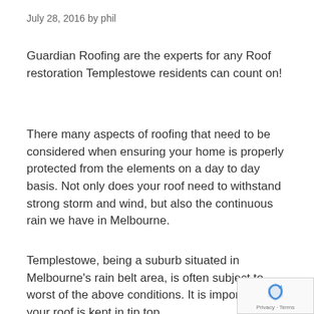July 28, 2016 by phil
Guardian Roofing are the experts for any Roof restoration Templestowe residents can count on!
There many aspects of roofing that need to be considered when ensuring your home is properly protected from the elements on a day to day basis. Not only does your roof need to withstand strong storm and wind, but also the continuous rain we have in Melbourne.
Templestowe, being a suburb situated in Melbourne’s rain belt area, is often subject to worst of the above conditions. It is important that your roof is kept in tip top